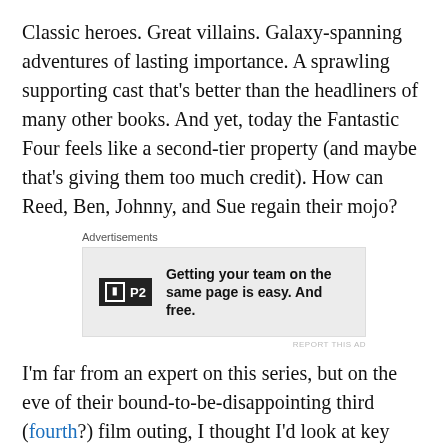Classic heroes. Great villains. Galaxy-spanning adventures of lasting importance. A sprawling supporting cast that's better than the headliners of many other books. And yet, today the Fantastic Four feels like a second-tier property (and maybe that's giving them too much credit). How can Reed, Ben, Johnny, and Sue regain their mojo?
[Figure (other): Advertisement box with P2 logo and text: Getting your team on the same page is easy. And free.]
I'm far from an expert on this series, but on the eve of their bound-to-be-disappointing third (fourth?) film outing, I thought I'd look at key aspects of the Fantastic Four — the things that make them special, and the things I think need to be front-and-center in any interpretation of this property. I'm certain I'll miss a few things (and overstate others), so